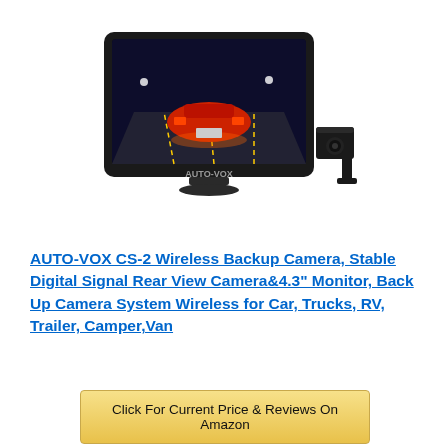[Figure (photo): AUTO-VOX CS-2 wireless backup camera system product photo showing a black monitor with a rear-view camera feed of a red car, and a small rear camera unit next to it. The monitor shows 'AUTO-VOX' branding.]
AUTO-VOX CS-2 Wireless Backup Camera, Stable Digital Signal Rear View Camera&4.3" Monitor, Back Up Camera System Wireless for Car, Trucks, RV, Trailer, Camper,Van
Click For Current Price & Reviews On Amazon